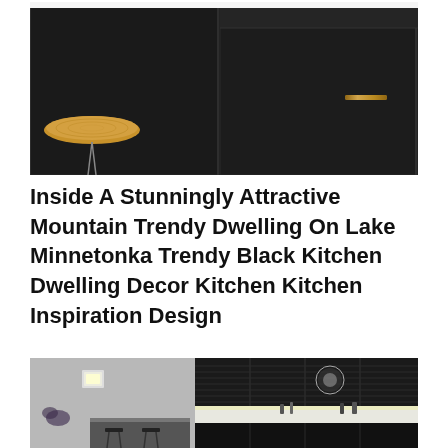[Figure (photo): Close-up of dark matte black kitchen cabinet doors with a wooden stool seat visible on the left side and a brass/gold handle on the cabinet on the right]
Inside A Stunningly Attractive Mountain Trendy Dwelling On Lake Minnetonka Trendy Black Kitchen Dwelling Decor Kitchen Kitchen Inspiration Design
[Figure (photo): Modern black and white kitchen interior with upper black ribbed cabinet doors, pendant globe light, under-cabinet lighting illuminating countertop with small appliances and bottles, and a kitchen island with black bar stools. A red circle X close/delete button is overlaid at the bottom center.]